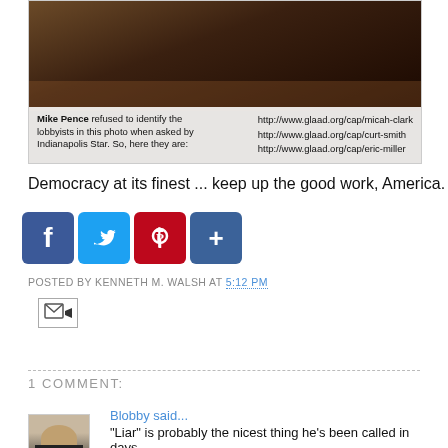[Figure (photo): Photo of people at a meeting table with a caption identifying lobbyists in a photo with Mike Pence, with GLAAD URLs for micah-clark, curt-smith, and eric-miller]
Democracy at its finest ... keep up the good work, America.
[Figure (infographic): Social sharing buttons: Facebook (f), Twitter (bird), Pinterest (P), Share (+)]
POSTED BY KENNETH M. WALSH AT 5:12 PM
[Figure (other): Email/forward button icon]
1 COMMENT:
Blobby said...
"Liar" is probably the nicest thing he's been called in days.
9:38 AM